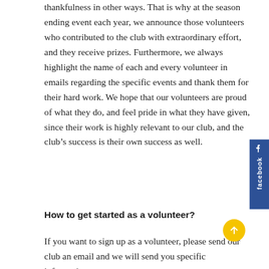thankfulness in other ways. That is why at the season ending event each year, we announce those volunteers who contributed to the club with extraordinary effort, and they receive prizes. Furthermore, we always highlight the name of each and every volunteer in emails regarding the specific events and thank them for their hard work. We hope that our volunteers are proud of what they do, and feel pride in what they have given, since their work is highly relevant to our club, and the club's success is their own success as well.
How to get started as a volunteer?
If you want to sign up as a volunteer, please send our club an email and we will send you specific information.
We are aware that some of the volunteer tasks
[Figure (other): Facebook sidebar button with thumbs up icon and 'facebook' text written vertically]
[Figure (other): Yellow circular scroll-to-top button with upward arrow icon]